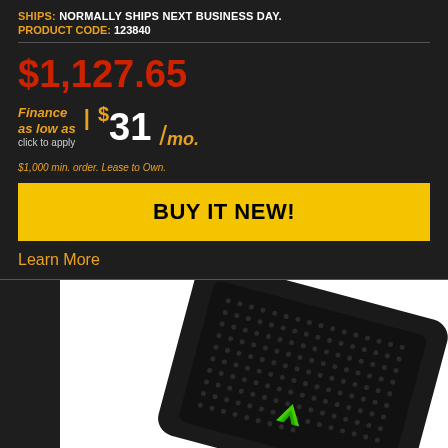SHIPS: NORMALLY SHIPS NEXT BUSINESS DAY.
PRODUCT CODE: 123840
$1,127.65
Finance as low as | $ 31 /mo. click to apply $1,000 min. order. Lease to Own.
BUY IT NEW!
Learn More
[Figure (photo): Black electronic device (speaker or media player) with green logo/accents, shown at an angle on white background]